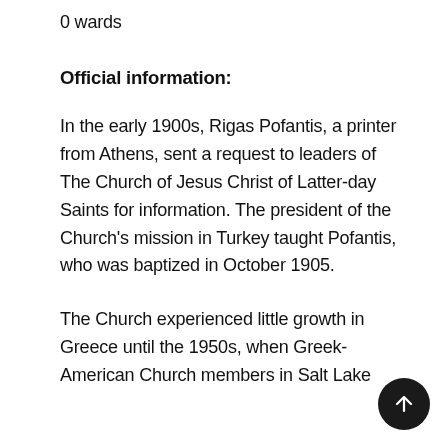0 wards
Official information:
In the early 1900s, Rigas Pofantis, a printer from Athens, sent a request to leaders of The Church of Jesus Christ of Latter-day Saints for information. The president of the Church's mission in Turkey taught Pofantis, who was baptized in October 1905.
The Church experienced little growth in Greece until the 1950s, when Greek-American Church members in Salt Lake